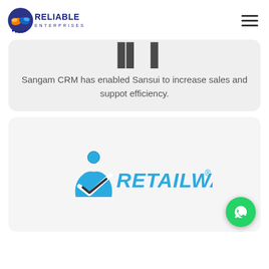Reliable Enterprises logo and navigation
Sangam CRM has enabled Sansui to increase sales and suppot efficiency.
[Figure (logo): Retailware logo — blue checkmark with person icon and blue italic bold RETAILWARE® text]
[Figure (other): WhatsApp floating button — green circle with white phone/chat icon]